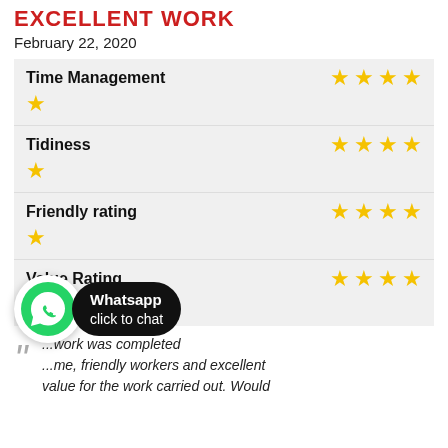EXCELLENT WORK
February 22, 2020
| Category | Rating |
| --- | --- |
| Time Management | ★★★★★ |
| Tidiness | ★★★★★ |
| Friendly rating | ★★★★★ |
| Value Rating | ★★★★★ |
...work was completed ...me, friendly workers and excellent value for the work carried out. Would
[Figure (logo): WhatsApp click to chat button with green WhatsApp logo and black pill-shaped label]